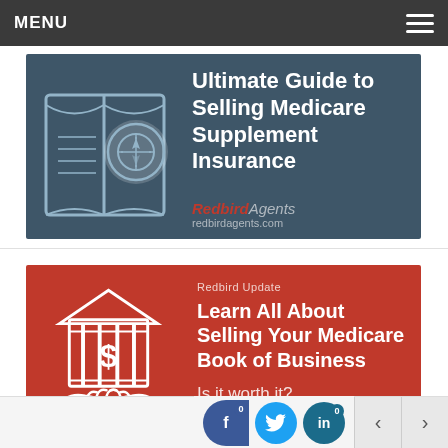MENU
[Figure (illustration): Dark blue-gray banner with open book icon and compass illustration on the left; text 'Ultimate Guide to Selling Medicare Supplement Insurance' on the right with Redbird Agents logo and redbirdagents.com]
[Figure (illustration): Red banner with white icon of hands shaking in front of a bank/dollar building; text 'Redbird Update', 'Learn All About Selling Your Medicare Book of Business', 'Is it worth it?']
[Figure (infographic): Bottom social share bar with Facebook (0), Twitter, LinkedIn (0) icons and left/right navigation arrows]